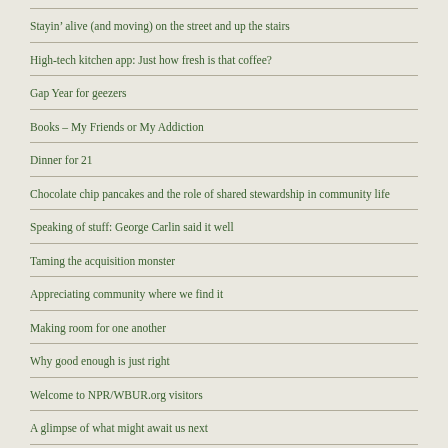Stayin’ alive (and moving) on the street and up the stairs
High-tech kitchen app: Just how fresh is that coffee?
Gap Year for geezers
Books – My Friends or My Addiction
Dinner for 21
Chocolate chip pancakes and the role of shared stewardship in community life
Speaking of stuff: George Carlin said it well
Taming the acquisition monster
Appreciating community where we find it
Making room for one another
Why good enough is just right
Welcome to NPR/WBUR.org visitors
A glimpse of what might await us next
Shining a light from one generation to another